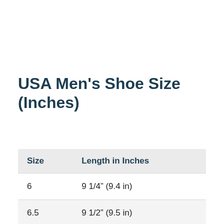USA Men's Shoe Size (Inches)
| Size | Length in Inches |
| --- | --- |
| 6 | 9 1/4” (9.4 in) |
| 6.5 | 9 1/2” (9.5 in) |